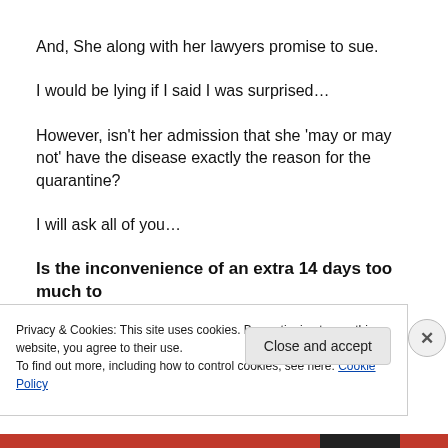And, She along with her lawyers promise to sue.
I would be lying if I said I was surprised…
However, isn't her admission that she 'may or may not' have the disease exactly the reason for the quarantine?
I will ask all of you…
Is the inconvenience of an extra 14 days too much to
Privacy & Cookies: This site uses cookies. By continuing to use this website, you agree to their use. To find out more, including how to control cookies, see here: Cookie Policy
Close and accept